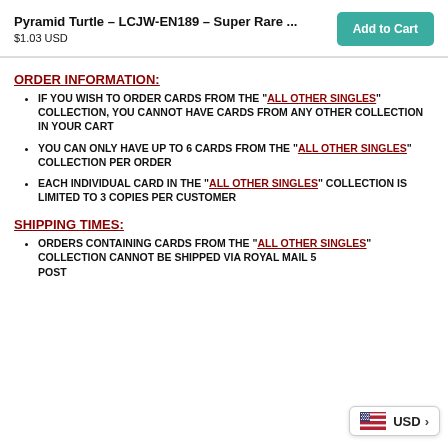Pyramid Turtle – LCJW-EN189 – Super Rare …
$1.03 USD
ORDER INFORMATION:
IF YOU WISH TO ORDER CARDS FROM THE "ALL OTHER SINGLES" COLLECTION, YOU CANNOT HAVE CARDS FROM ANY OTHER COLLECTION IN YOUR CART
YOU CAN ONLY HAVE UP TO 6 CARDS FROM THE "ALL OTHER SINGLES" COLLECTION PER ORDER
EACH INDIVIDUAL CARD IN THE "ALL OTHER SINGLES" COLLECTION IS LIMITED TO 3 COPIES PER CUSTOMER
SHIPPING TIMES:
ORDERS CONTAINING CARDS FROM THE "ALL OTHER SINGLES" COLLECTION CANNOT BE SHIPPED VIA ROYAL MAIL 5 POST